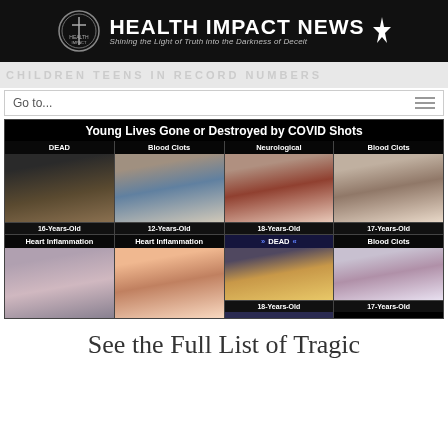HEALTH IMPACT NEWS — Shining the Light of Truth into the Darkness of Deceit
Go to...
[Figure (infographic): Infographic titled 'Young Lives Gone or Destroyed by COVID Shots' showing 8 young people in a 4x2 grid with labels: DEAD (16-Years-Old), Blood Clots (12-Years-Old), Neurological (18-Years-Old), Blood Clots (17-Years-Old), Heart Inflammation (no age shown), Heart Inflammation (no age shown), DEAD (18-Years-Old), Blood Clots (17-Years-Old)]
See the Full List of Tragic